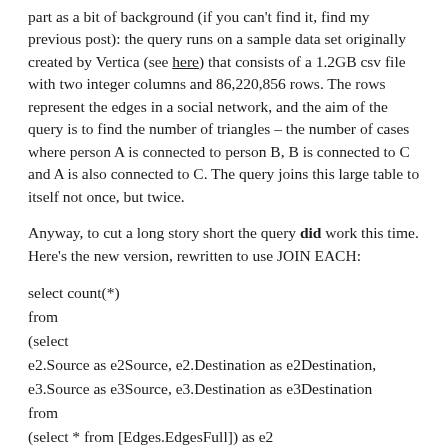part as a bit of background (if you can't find it, find my previous post): the query runs on a sample data set originally created by Vertica (see here) that consists of a 1.2GB csv file with two integer columns and 86,220,856 rows. The rows represent the edges in a social network, and the aim of the query is to find the number of triangles – the number of cases where person A is connected to person B, B is connected to C and A is also connected to C. The query joins this large table to itself not once, but twice.
Anyway, to cut a long story short the query did work this time. Here's the new version, rewritten to use JOIN EACH:
select count(*)
from
(select
e2.Source as e2Source, e2.Destination as e2Destination,
e3.Source as e3Source, e3.Destination as e3Destination
from
(select * from [Edges.EdgesFull]) as e2
join each
(select * from [Edges.EdgesFull]) as e3
on e2.destination = e3.source